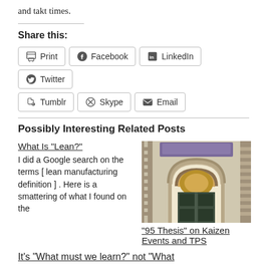and takt times.
Share this:
Print | Facebook | LinkedIn | Twitter | Tumblr | Skype | Email
Possibly Interesting Related Posts
[Figure (photo): Photograph of an ornate stone church doorway/entrance with an arched portal, decorative stonework, and wooden doors]
What Is "Lean?"
I did a Google search on the terms [ lean manufacturing definition ] . Here is a smattering of what I found on the
"95 Thesis" on Kaizen Events and TPS
It's "What must we learn?" not "What